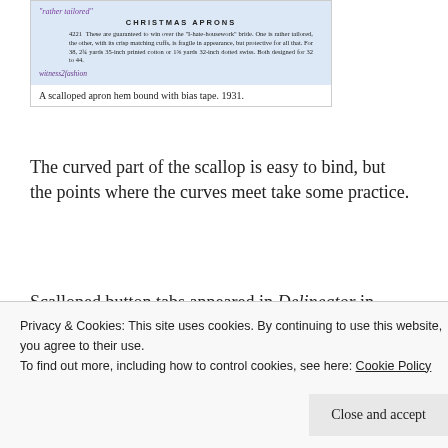[Figure (photo): Vintage sewing pattern advertisement for Christmas Aprons, pattern 4221, showing text about apron styles and fabric requirements. Blue/light background with watermark 'witness2fashion'. Heading: CHRISTMAS APRONS.]
A scalloped apron hem bound with bias tape. 1931.
The curved part of the scallop is easy to bind, but the points where the curves meet take some practice.
Scalloped button tabs appeared in Delineator in November, 1929:
[Figure (photo): Partial view of a vintage 1929 photograph showing women's fashion, with the year '1929' visible in orange/brown text.]
Privacy & Cookies: This site uses cookies. By continuing to use this website, you agree to their use.
To find out more, including how to control cookies, see here: Cookie Policy